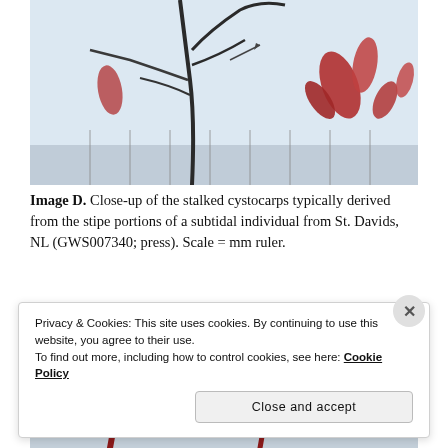[Figure (photo): Close-up photograph of stalked cystocarps on seaweed stipe portions against a light background with a millimeter ruler visible]
Image D. Close-up of the stalked cystocarps typically derived from the stipe portions of a subtidal individual from St. Davids, NL (GWS007340; press). Scale = mm ruler.
[Figure (photo): Close-up photograph of red stalked cystocarps on seaweed specimen]
Privacy & Cookies: This site uses cookies. By continuing to use this website, you agree to their use. To find out more, including how to control cookies, see here: Cookie Policy
Close and accept